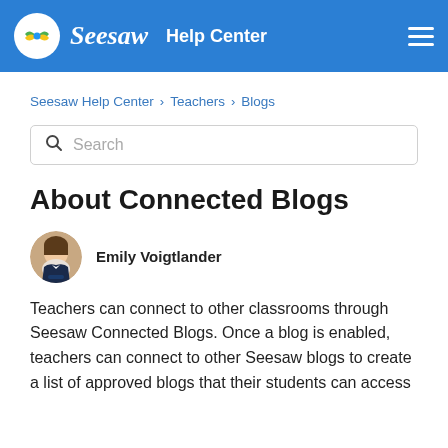Seesaw Help Center
Seesaw Help Center › Teachers › Blogs
Search
About Connected Blogs
Emily Voigtlander
Teachers can connect to other classrooms through Seesaw Connected Blogs. Once a blog is enabled, teachers can connect to other Seesaw blogs to create a list of approved blogs that their students can access